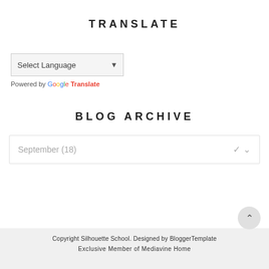TRANSLATE
[Figure (screenshot): A language selector dropdown widget showing 'Select Language' with a dropdown arrow, and 'Powered by Google Translate' text below]
BLOG ARCHIVE
[Figure (screenshot): A blog archive dropdown showing 'September (18)' with a chevron arrow]
Copyright Silhouette School. Designed by BloggerTemplate
Exclusive Member of Mediavine Home